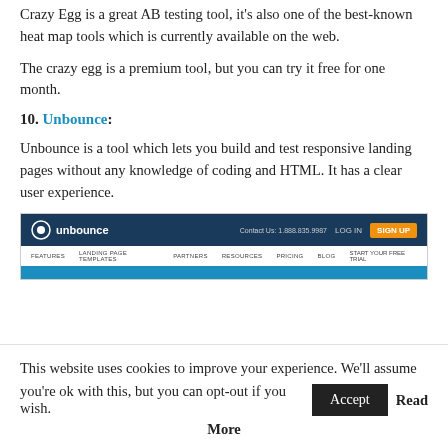Crazy Egg is a great AB testing tool, it's also one of the best-known heat map tools which is currently available on the web.
The crazy egg is a premium tool, but you can try it free for one month.
10. Unbounce:
Unbounce is a tool which lets you build and test responsive landing pages without any knowledge of coding and HTML. It has a clear user experience.
[Figure (screenshot): Screenshot of the Unbounce website homepage showing a dark navy navigation bar with the Unbounce logo, Contact Us number, Log In link, and orange SIGN UP button, below which is a white sub-navigation bar with menu items, followed by a blue bar.]
This website uses cookies to improve your experience. We'll assume you're ok with this, but you can opt-out if you wish. Accept Read More